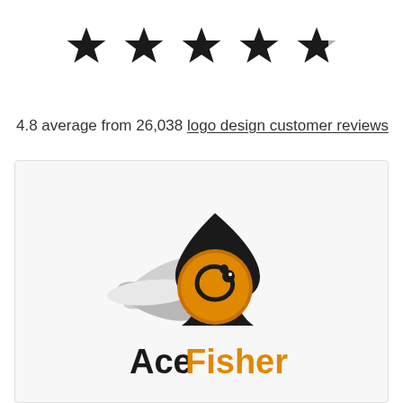[Figure (other): Five black star rating icons (4.8 stars represented as 5 filled stars, last one slightly lighter/half)]
4.8 average from 26,038 logo design customer reviews
[Figure (logo): AceFisher logo: a fish combined with a spade card suit symbol, orange and black coloring, with fish tail fins in silver/white, and the text 'Ace' in black and 'Fisher' in orange below]